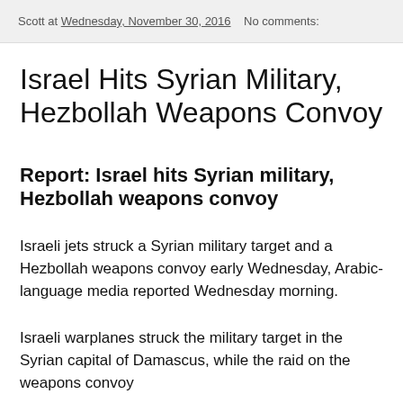Scott at Wednesday, November 30, 2016   No comments:
Israel Hits Syrian Military, Hezbollah Weapons Convoy
Report: Israel hits Syrian military, Hezbollah weapons convoy
Israeli jets struck a Syrian military target and a Hezbollah weapons convoy early Wednesday, Arabic-language media reported Wednesday morning.
Israeli warplanes struck the military target in the Syrian capital of Damascus, while the raid on the weapons convoy